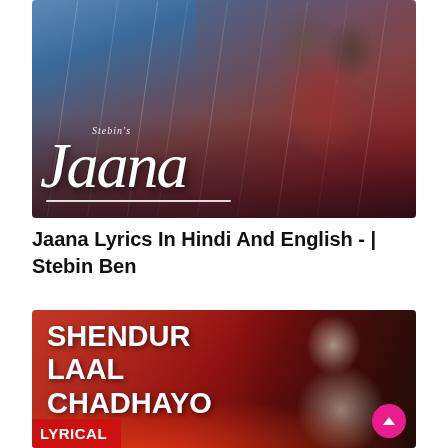[Figure (photo): Movie/music promotional image for 'Jaana' by Stebin Ben showing a couple in rain with stylized script title]
Jaana Lyrics In Hindi And English -  | Stebin Ben
[Figure (photo): Music video thumbnail for 'Shendur Laal Chadhayo' with red background and person, showing LYRICAL badge]